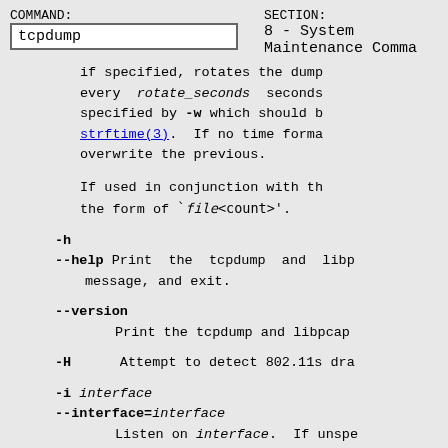COMMAND: tcpdump   SECTION: 8 - System Maintenance Commands
if specified, rotates the dump every rotate_seconds seconds specified by -w which should be strftime(3). If no time format overwrite the previous.
If used in conjunction with the the form of `file<count>'.
-h
--help Print the tcpdump and libp message, and exit.
--version
Print the tcpdump and libpcap
-H      Attempt to detect 802.11s dra
-i interface
--interface=interface
Listen on interface. If unspe tem interface list for the lo face (excluding loopback). T